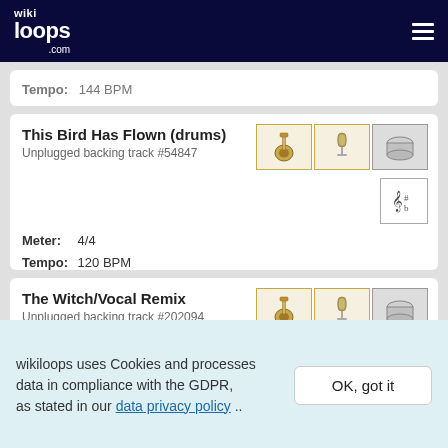wikiloops.com
Tempo:   144 BPM
This Bird Has Flown (drums)
Unplugged backing track #54847
Meter:   4/4
Tempo:   120 BPM
The Witch/Vocal Remix
Unplugged backing track #202094
wikiloops uses Cookies and processes data in compliance with the GDPR, as stated in our data privacy policy ..